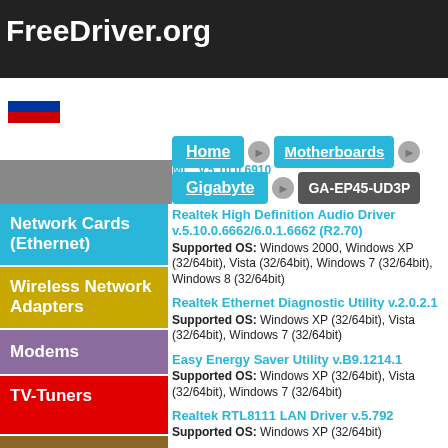FreeDriver.org
Home > Motherboards > Gigabyte > GA-EP45-UD3P
Network Cards (Ethernet)
Wireless Network Adapters
Modems
TV-Tuners
Bluetoothes
Uninterruptible
Realtek High Definition Audio Driver v.5.10.0.6662/6.0.1.6662 (R2.70)
Supported OS: Windows 2000, Windows XP (32/64bit), Vista (32/64bit), Windows 7 (32/64bit), Windows 8 (32/64bit)
Realtek Ethernet Diagnostic Utility v.2.0.2.1
Supported OS: Windows XP (32/64bit), Vista (32/64bit), Windows 7 (32/64bit)
Easy Energy Saver Utility v.B9.1214.1
Supported OS: Windows XP (32/64bit), Vista (32/64bit), Windows 7 (32/64bit)
Realtek RTL8111 LAN Driver v.5.792
Supported OS: Windows XP (32/64bit)
Realtek LAN Driver v.6.250